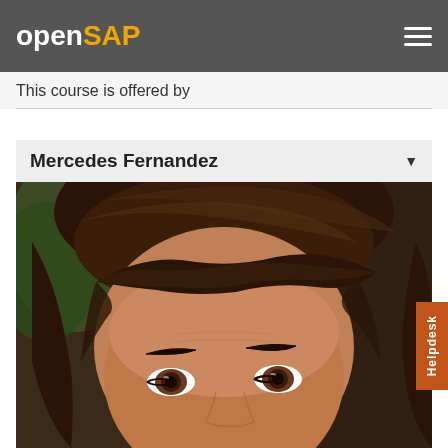openSAP
This course is offered by
Mercedes Fernandez
[Figure (photo): Close-up portrait photo of Mercedes Fernandez, a woman with dark brown shoulder-length hair and brown eyes, photographed against a background with green foliage.]